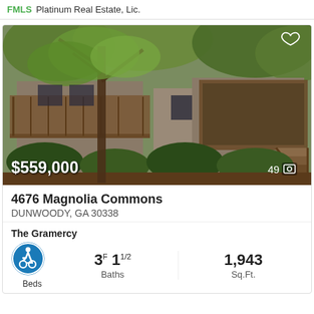Platinum Real Estate, Lic.
[Figure (photo): Exterior photo of a brick multi-unit residential building with wooden decks and screened porches, surrounded by trees with green leaves. Price overlay: $559,000, photo count: 49.]
4676 Magnolia Commons
DUNWOODY, GA 30338
The Gramercy
3F 1 1/2 Baths
1,943 Sq.Ft.